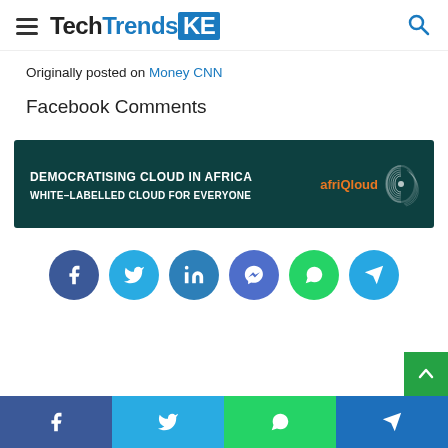TechTrendsKE
Originally posted on Money CNN
Facebook Comments
[Figure (infographic): afriQloud ad banner: dark teal background with text 'DEMOCRATISING CLOUD IN AFRICA / WHITE-LABELLED CLOUD FOR EVERYONE' and the afriQloud logo with fingerprint graphic on the right]
[Figure (infographic): Social share buttons row: Facebook (blue circle), Twitter (cyan circle), LinkedIn (blue circle), Messenger (indigo circle), WhatsApp (green circle), Telegram (blue circle)]
Bottom share bar: Facebook, Twitter, WhatsApp, Telegram